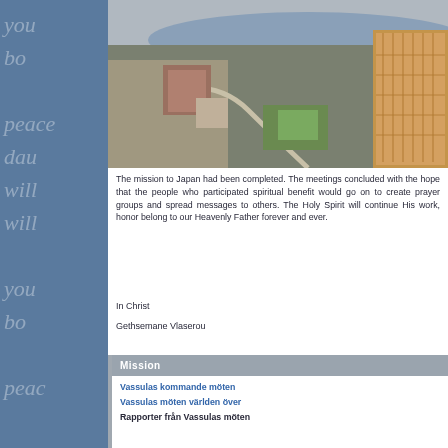[Figure (photo): Aerial view of a city with buildings, a river, and a green sports field]
The mission to Japan had been completed. The meetings concluded with the hope that the people who participated spiritual benefit would go on to create prayer groups and spread messages to others. The Holy Spirit will continue His work, honor belong to our Heavenly Father forever and ever.
In Christ
Gethsemane Vlaserou
Mission
Vassulas kommande möten
Vassulas möten världen över
Rapporter från Vassulas möten